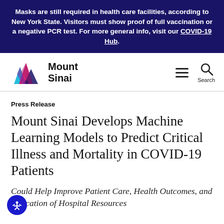Masks are still required in health care facilities, according to New York State. Visitors must show proof of full vaccination or a negative PCR test. For more general info, visit our COVID-19 Hub.
[Figure (logo): Mount Sinai logo with colorful mountain peaks icon and 'Mount Sinai' text]
Press Release
Mount Sinai Develops Machine Learning Models to Predict Critical Illness and Mortality in COVID-19 Patients
Could Help Improve Patient Care, Health Outcomes, and Allocation of Hospital Resources